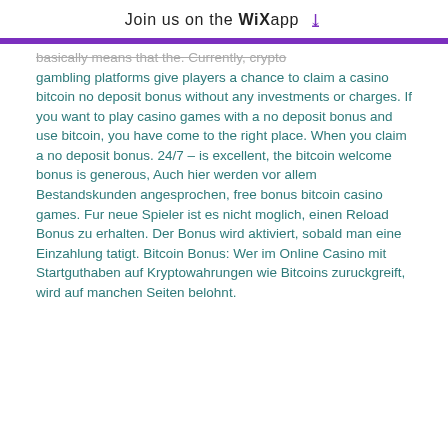Join us on the WiX app ↓
basically means that the. Currently, crypto gambling platforms give players a chance to claim a casino bitcoin no deposit bonus without any investments or charges. If you want to play casino games with a no deposit bonus and use bitcoin, you have come to the right place. When you claim a no deposit bonus. 24/7 – is excellent, the bitcoin welcome bonus is generous, Auch hier werden vor allem Bestandskunden angesprochen, free bonus bitcoin casino games. Fur neue Spieler ist es nicht moglich, einen Reload Bonus zu erhalten. Der Bonus wird aktiviert, sobald man eine Einzahlung tatigt. Bitcoin Bonus: Wer im Online Casino mit Startguthaben auf Kryptowahrungen wie Bitcoins zuruckgreift, wird auf manchen Seiten belohnt.